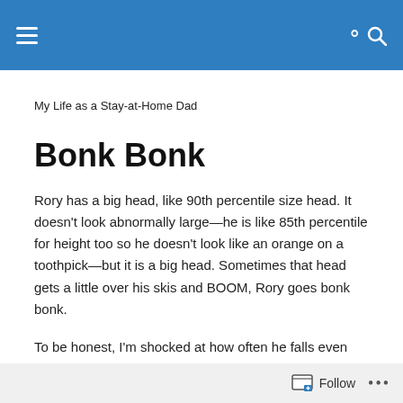My Life as a Stay-at-Home Dad
Bonk Bonk
Rory has a big head, like 90th percentile size head. It doesn't look abnormally large—he is like 85th percentile for height too so he doesn't look like an orange on a toothpick—but it is a big head. Sometimes that head gets a little over his skis and BOOM, Rory goes bonk bonk.
To be honest, I'm shocked at how often he falls even with a huge head. I know he only learned to walk like 9 months
Follow